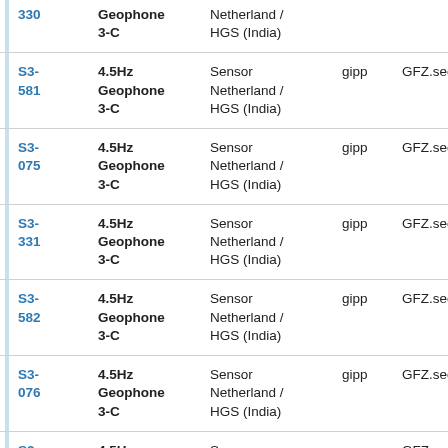| ID | Type | Description | Source | Code | Status |
| --- | --- | --- | --- | --- | --- |
| 330 | 4.5Hz Geophone 3-C | Sensor Netherland / HGS (India) |  |  |  |
| S3-581 | 4.5Hz Geophone 3-C | Sensor Netherland / HGS (India) | gipp | GFZ.sec22 | OK |
| S3-075 | 4.5Hz Geophone 3-C | Sensor Netherland / HGS (India) | gipp | GFZ.sec22 | OK |
| S3-331 | 4.5Hz Geophone 3-C | Sensor Netherland / HGS (India) | gipp | GFZ.sec22 | OK |
| S3-582 | 4.5Hz Geophone 3-C | Sensor Netherland / HGS (India) | gipp | GFZ.sec22 | OK |
| S3-076 | 4.5Hz Geophone 3-C | Sensor Netherland / HGS (India) | gipp | GFZ.sec22 | OK |